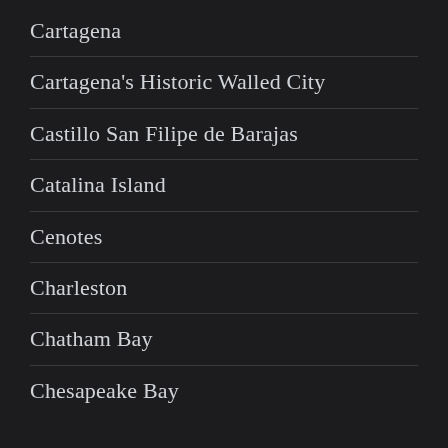Cartagena
Cartagena's Historic Walled City
Castillo San Filipe de Barajas
Catalina Island
Cenotes
Charleston
Chatham Bay
Chesapeake Bay